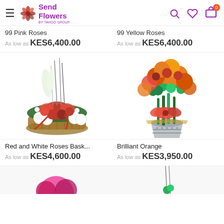Send Flowers by Tahoo Group — navigation header with menu, logo, search, wishlist, cart (0)
99 Pink Roses
As low as KES6,400.00
99 Yellow Roses
As low as KES6,400.00
[Figure (photo): Flower arrangement: Red and White Roses Basket with tall stems, white roses, red roses, red bow, in a woven basket]
[Figure (photo): Flower arrangement: Brilliant Orange — orange chrysanthemums and green flowers in a grey pot with orange ribbon bow]
Red and White Roses Bask...
As low as KES4,600.00
Brilliant Orange
As low as KES3,950.00
[Figure (photo): Partial view of another flower product at the bottom left]
[Figure (photo): Partial view of another flower product at the bottom right]